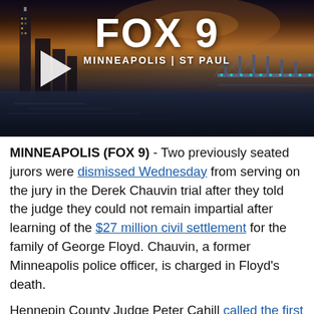[Figure (screenshot): FOX 9 Minneapolis | St Paul video thumbnail showing city skyline at dusk with river and bridge, with play button overlay and FOX 9 logo]
MINNEAPOLIS (FOX 9) - Two previously seated jurors were dismissed Wednesday from serving on the jury in the Derek Chauvin trial after they told the judge they could not remain impartial after learning of the $27 million civil settlement for the family of George Floyd. Chauvin, a former Minneapolis police officer, is charged in Floyd's death.
Hennepin County Judge Peter Cahill called the first seven jurors seated in the trial back to the courtroom via Zoom at 8:45 a.m. to question them over whether